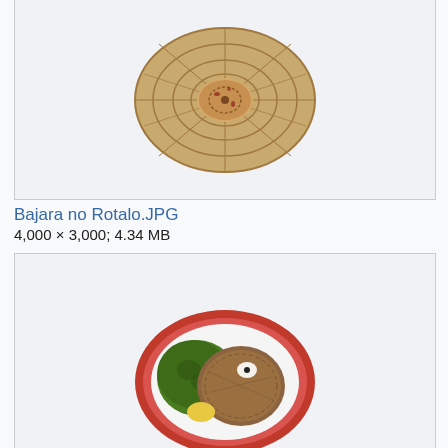[Figure (photo): Bajara no Rotalo flatbread viewed from above on a woven basket surface]
Bajara no Rotalo.JPG
4,000 × 3,000; 4.34 MB
[Figure (photo): Bajre ki Roti with Sarson ka Saag - flatbread with mustard greens on a red plate]
Bajre ki Roti with Sarson ka Saag.jpg
276 × 183; 10 KB
[Figure (photo): Partial view of another food image (cut off at bottom)]